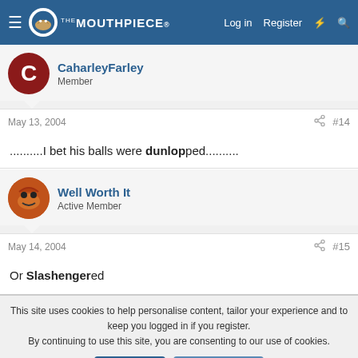The Mouthpiece - Log in | Register
CaharleyFarley
Member
May 13, 2004  #14
..........I bet his balls were dunlopped..........
Well Worth It
Active Member
May 14, 2004  #15
Or Slashengered
This site uses cookies to help personalise content, tailor your experience and to keep you logged in if you register.
By continuing to use this site, you are consenting to our use of cookies.